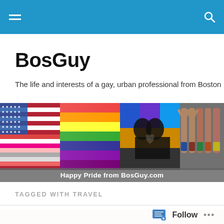BosGuy – navigation bar
BosGuy
The life and interests of a gay, urban professional from Boston
[Figure (photo): Collage banner: American flag, rainbow pride flag, silhouette of two people kissing against colorful lights, group of men posing in swimwear]
Happy Pride from BosGuy.com
TAGGED WITH TRAVEL
[Figure (photo): Partial view of a person's shoulder/head, warm skin tones]
Follow …